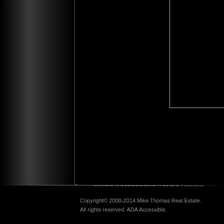[Figure (screenshot): Dark website layout with a left gradient sidebar and a main black content panel. A white-bordered image box appears in the upper right portion of the main panel. The overall design is a dark/black themed real estate website.]
MIKE'S WATERFRONT HOMES | MIKE'S WATERFRONT LOTS |
MEET MIKE
Copyright© 2008-2014 Mike Thomas Real Estate.
All rights reserved. ADA Accessible.